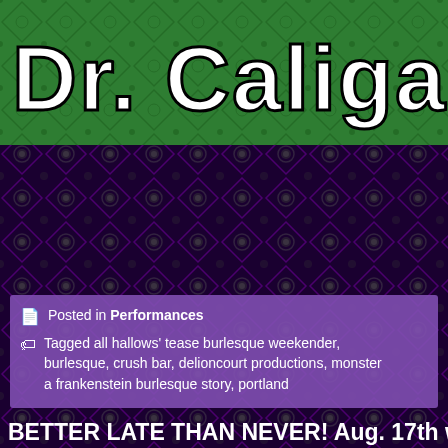[Figure (logo): Green banner with horror-styled white bold text reading 'Dr. Caligari & C' (partially visible), on a decorative dark purple diamond/floral pattern background]
Posted in Performances
Tagged all hallows' tease burlesque weekender, burlesque, crush bar, delioncourt productions, monster a frankenstein burlesque story, portland
BETTER LATE THAN NEVER! Aug. 17th wa MSTease3K: Electric Boogaloo!
Posted by Marisa on October 13, 2018
I have been bereft in my duties, and for that I beg your fo few months have seized me with a profound feeling of ap coming out of it, so I thought I would right a wrong that ha embarrassed. Last August the 17th was the second it